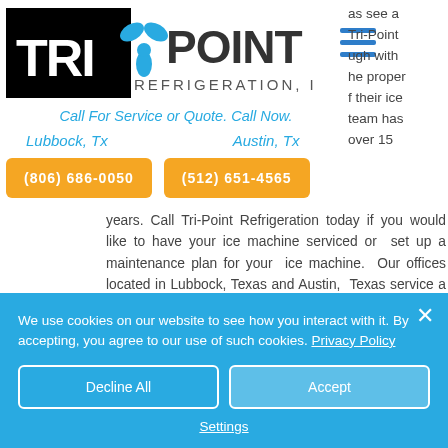[Figure (logo): Tri-Point Refrigeration Inc. logo with fan/propeller icon, white text on black background for TRI and blue text for POINT REFRIGERATION, INC.]
Call For Service or Quote. Call Now.
Lubbock, Tx
Austin, Tx
(806) 686-0050
(512) 651-4565
years. Call Tri-Point Refrigeration today if you would like to have your ice machine serviced or set up a maintenance plan for your ice machine. Our offices located in Lubbock, Texas and Austin, Texas service a 100 mile radius around both cities. Our Lubbock offic
We use cookies on our website to see how you interact with it. By accepting, you agree to our use of such cookies. Privacy Policy
Decline All
Accept
Settings